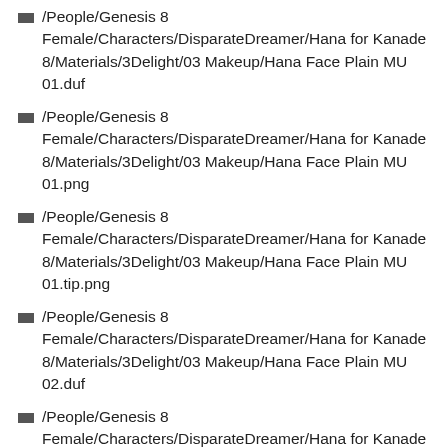/People/Genesis 8 Female/Characters/DisparateDreamer/Hana for Kanade 8/Materials/3Delight/03 Makeup/Hana Face Plain MU 01.duf
/People/Genesis 8 Female/Characters/DisparateDreamer/Hana for Kanade 8/Materials/3Delight/03 Makeup/Hana Face Plain MU 01.png
/People/Genesis 8 Female/Characters/DisparateDreamer/Hana for Kanade 8/Materials/3Delight/03 Makeup/Hana Face Plain MU 01.tip.png
/People/Genesis 8 Female/Characters/DisparateDreamer/Hana for Kanade 8/Materials/3Delight/03 Makeup/Hana Face Plain MU 02.duf
/People/Genesis 8 Female/Characters/DisparateDreamer/Hana for Kanade 8/Materials/3Delight/03 Makeup/Hana Face Plain MU 02.png
/People/Genesis 8